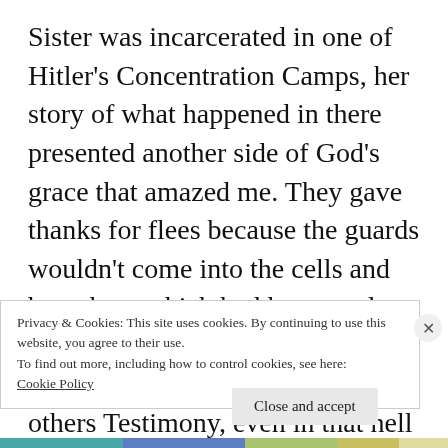Sister was incarcerated in one of Hitler's Concentration Camps, her story of what happened in there presented another side of God's grace that amazed me. They gave thanks for flees because the guards wouldn't come into the cells and beat them which had happened often, and many Jews became Christians through theirs and others Testimony, even in that hell God had the victory, His redeemed Children were not lost for eternity.
Privacy & Cookies: This site uses cookies. By continuing to use this website, you agree to their use.
To find out more, including how to control cookies, see here: Cookie Policy
Close and accept